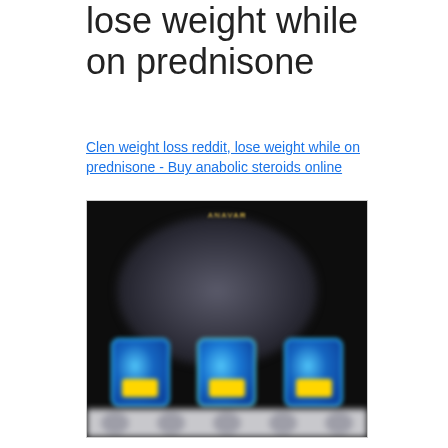lose weight while on prednisone
Clen weight loss reddit, lose weight while on prednisone - Buy anabolic steroids online
[Figure (photo): Blurred dark promotional image showing a muscular figure silhouette in the background and three blue supplement bottles with yellow labels in the foreground, with a light grey strip at the bottom.]